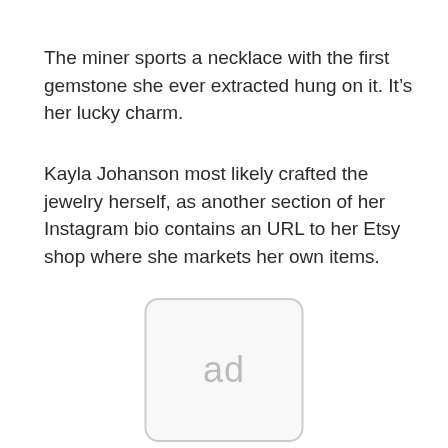The miner sports a necklace with the first gemstone she ever extracted hung on it. It’s her lucky charm.
Kayla Johanson most likely crafted the jewelry herself, as another section of her Instagram bio contains an URL to her Etsy shop where she markets her own items.
[Figure (other): Ad placeholder box with rounded corners containing the text 'ad' in light gray]